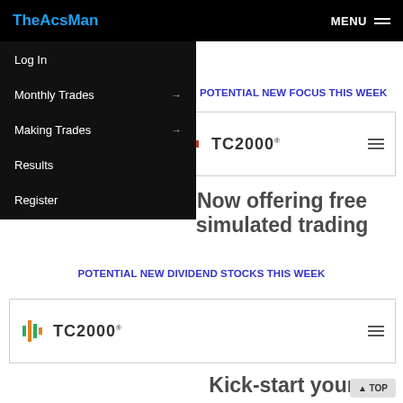TheAcsMan  MENU
Log In
Monthly Trades
Making Trades
Results
Register
POTENTIAL NEW FOCUS THIS WEEK
[Figure (screenshot): TC2000 logo widget with hamburger menu icon, showing free simulated trading offer]
Now offering free simulated trading
POTENTIAL NEW DIVIDEND STOCKS THIS WEEK
[Figure (screenshot): TC2000 logo widget with hamburger menu icon, showing kick-start offer]
Kick-start your